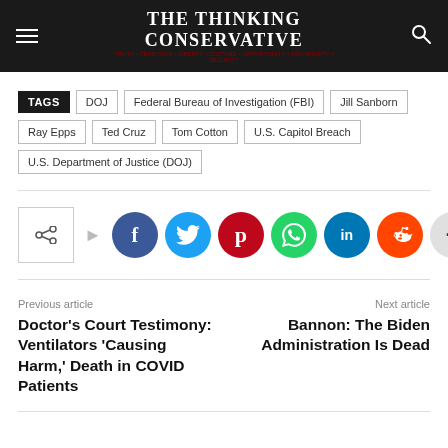The Thinking Conservative
TAGS: DOJ | Federal Bureau of Investigation (FBI) | Jill Sanborn | Ray Epps | Ted Cruz | Tom Cotton | U.S. Capitol Breach | U.S. Department of Justice (DOJ)
[Figure (infographic): Social share buttons: Facebook, Twitter, Pinterest, WhatsApp, LinkedIn, Reddit, More]
Previous article
Doctor's Court Testimony: Ventilators 'Causing Harm,' Death in COVID Patients
Next article
Bannon: The Biden Administration Is Dead